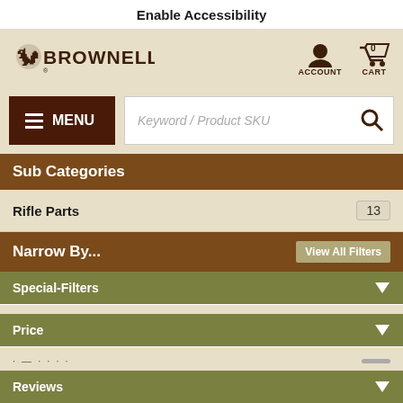Enable Accessibility
[Figure (logo): Brownells logo with squirrel mascot]
Sub Categories
Rifle Parts   13
Narrow By...
View All Filters
Special-Filters
Price
Reviews
Available Outside USA, 800.00 TO * 700 Stock (13 items)